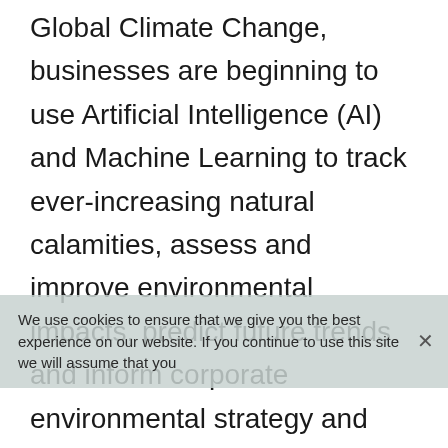Global Climate Change, businesses are beginning to use Artificial Intelligence (AI) and Machine Learning to track ever-increasing natural calamities, assess and improve environmental impacts, predict future trends and inform corporate environmental strategy and policy.

Companies are taking an interest in this new technology not only because of threats to ecosystems and populations, but also because of concerns that unanticipated natural disasters and weather events can directly impact trade and commerce.
We use cookies to ensure that we give you the best experience on our website. If you continue to use this site we will assume that you